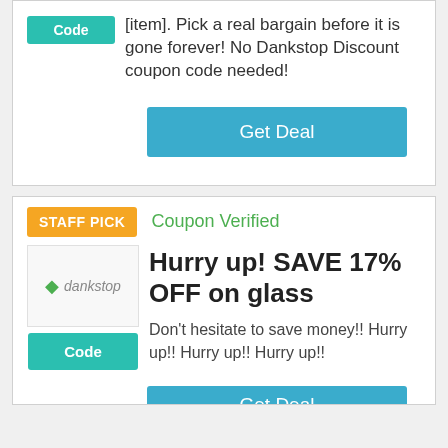[item]. Pick a real bargain before it is gone forever! No Dankstop Discount coupon code needed!
Get Deal
STAFF PICK
Coupon Verified
[Figure (logo): Dankstop logo with leaf icon and italic text]
Code
Hurry up! SAVE 17% OFF on glass
Don't hesitate to save money!! Hurry up!! Hurry up!! Hurry up!!
Get Deal